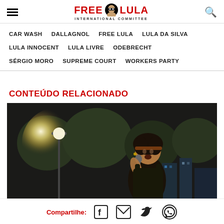FREE LULA INTERNATIONAL COMMITTEE
CAR WASH   DALLAGNOL   FREE LULA   LULA DA SILVA   LULA INNOCENT   LULA LIVRE   ODEBRECHT   SÉRGIO MORO   SUPREME COURT   WORKERS PARTY
CONTEÚDO RELACIONADO
[Figure (photo): A woman speaking into a microphone at a night rally outdoors, with trees and street lights in the background.]
Compartilhe: